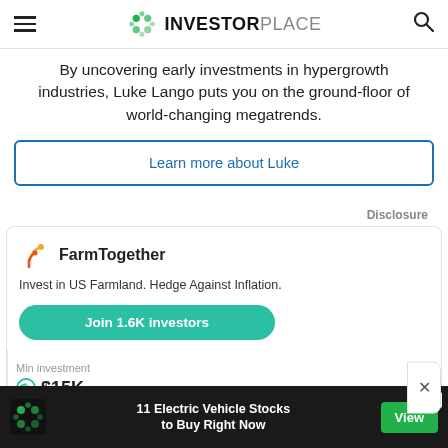InvestorPlace
By uncovering early investments in hypergrowth industries, Luke Lango puts you on the ground-floor of world-changing megatrends.
Learn more about Luke
Disclosure
[Figure (logo): FarmTogether logo with checkmark in orange/yellow, brand name FarmTogether, tagline: Invest in US Farmland. Hedge Against Inflation. Join 1.6K investors button. Min investment $15K, Target return 6-13%.]
11 Electric Vehicle Stocks to Buy Right Now — View